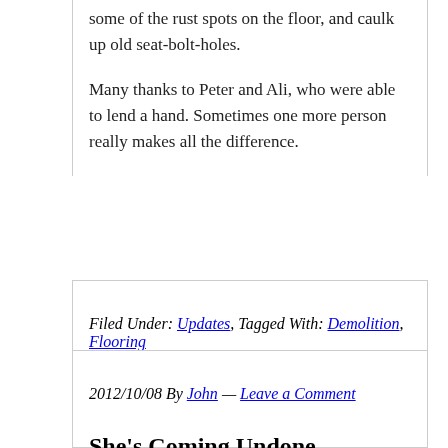some of the rust spots on the floor, and caulk up old seat-bolt-holes.
Many thanks to Peter and Ali, who were able to lend a hand. Sometimes one more person really makes all the difference.
Filed Under: Updates, Tagged With: Demolition, Flooring
2012/10/08 By John — Leave a Comment
She's Coming Undone